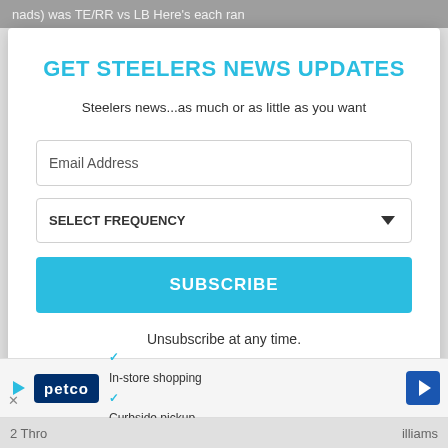nads) was TE/RR vs LB Here's each ran
GET STEELERS NEWS UPDATES
Steelers news...as much or as little as you want
Email Address
SELECT FREQUENCY
SUBSCRIBE
Unsubscribe at any time.
[Figure (other): Petco advertisement banner with in-store shopping and curbside pickup checkmarks and navigation icon]
2 Thro... illiams